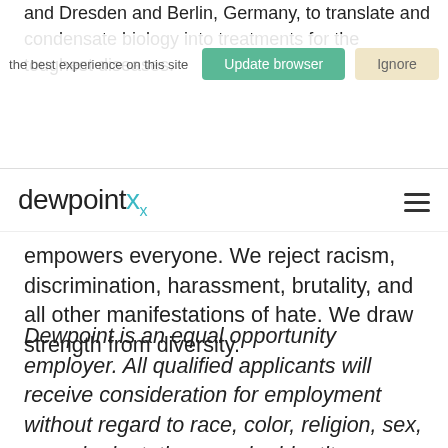and Dresden and Berlin, Germany, to translate and condensate biology into treatments for the toughest diseases.
[Figure (screenshot): Browser update notification overlay with 'Update browser' (green button) and 'Ignore' (tan button), with text 'the best experience on this site']
dewpointx (logo) with hamburger menu icon
empowers everyone. We reject racism, discrimination, harassment, brutality, and all other manifestations of hate. We draw strength from diversity.
Dewpoint is an equal opportunity employer. All qualified applicants will receive consideration for employment without regard to race, color, religion, sex, sexual orientation, gender identity, national origin, disability, or veteran status.